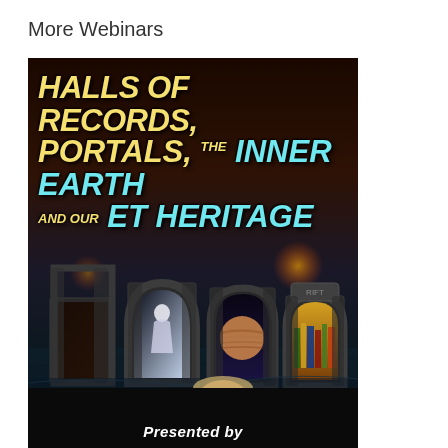More Webinars
[Figure (illustration): Promotional webinar image titled 'Halls of Records, Portals, the Inner Earth and our ET Heritage' with text 'Now on Vimeo'. Dark fantasy background with stone portals/doorways opening to cosmic scenes (angel, Jupiter planet, library). Bottom black bar with 'Presented by' text and partial view of a man's face.]